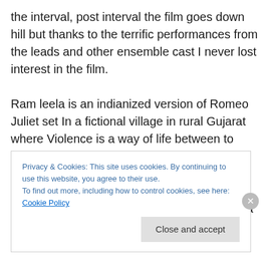the interval, post interval the film goes down hill but thanks to the terrific performances from the leads and other ensemble cast I never lost interest in the film.

Ram leela is an indianized version of Romeo Juliet set In a fictional village in rural Gujarat where Violence is a way of life between to waring factions of Rajadi and Sanera and expectedly Ram and Leela belong to these warring families but what works most in the film is the sizzling chemistry between deepika and ranveer Singh right from the first scene they are together and the films most
Privacy & Cookies: This site uses cookies. By continuing to use this website, you agree to their use.
To find out more, including how to control cookies, see here: Cookie Policy

Close and accept